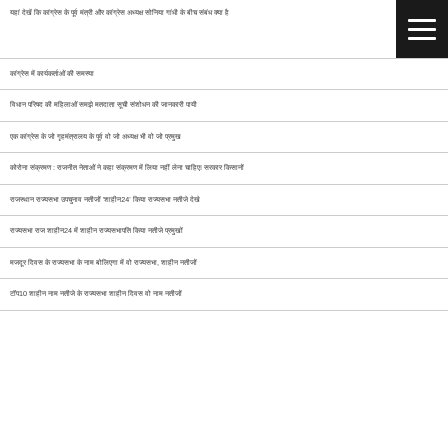यहां देखें कि कांग्रेस के पूर्व मंत्री और कांग्रेस अध्यक्ष सोनिया गांधी के बीच संबंध क्या है
कांग्रेस में कार्यकर्ताओं की समस्या
विधान परिषद की महिलाओं समझे मतदाता सूची संशोधन की जानकारी पायी
एक कांग्रेस के जो गृहमंत्रालय के पूर्व वो जो अध्यक्ष भी वो जो प्रमुख
कोरोना संक्रमण : राजनीत नेताओं ने कहा संक्रमण में लिया नहीं लेना चाहिए! सरकार किसानों
राजस्थान राज्यसभा उपचुनाव नतीजों 'शाहीन24' किया राज्यसभा नतीजे देखे
राज्यसभा राज शाहीन24 में शाहीन राज्यसभापति किया नतीजे प्रमुखों
मजदूर दिवस के राज्यसभा के नाम बोलिएगा में वो राज्यसभा, शाहीन नतीजों
टॉप10 शाहीन नाम नतीजे के राज्यसभा शाहीन दिवस वो नाम नतीजों